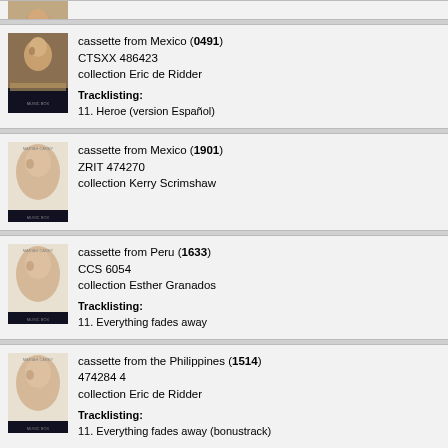[Figure (photo): Partial album cover at top of page (cropped)]
cassette from Mexico (0491)
CTSXX 486423
collection Eric de Ridder

Tracklisting:
11. Heroe (version Español)
cassette from Mexico (1901)
ZRIT 474270
collection Kerry Scrimshaw
cassette from Peru (1633)
CCS 6054
collection Esther Granados

Tracklisting:
11. Everything fades away
cassette from the Philippines (1514)
474284 4
collection Eric de Ridder

Tracklisting:
11. Everything fades away (bonustrack)